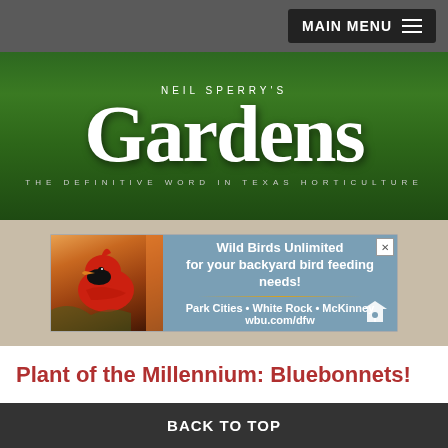MAIN MENU
[Figure (logo): Neil Sperry's Gardens - The Definitive Word in Texas Horticulture banner with dark green textured background]
[Figure (photo): Wild Birds Unlimited advertisement featuring a cardinal photo on left and text: Wild Birds Unlimited for your backyard bird feeding needs! Park Cities • White Rock • McKinney wbu.com/dfw]
Plant of the Millennium: Bluebonnets!
March and April can be spectacular across Texas as our spring wildflowers hit their full stride. And leading the pack,
BACK TO TOP